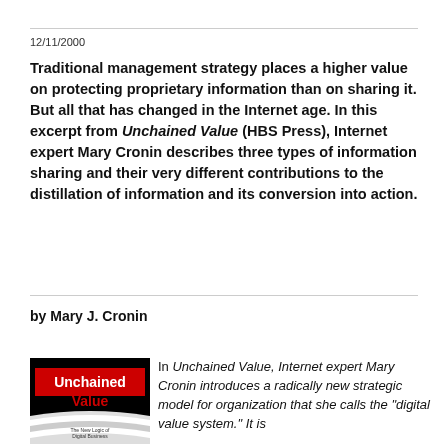12/11/2000
Traditional management strategy places a higher value on protecting proprietary information than on sharing it. But all that has changed in the Internet age. In this excerpt from Unchained Value (HBS Press), Internet expert Mary Cronin describes three types of information sharing and their very different contributions to the distillation of information and its conversion into action.
by Mary J. Cronin
[Figure (photo): Book cover of Unchained Value with red and black design and text 'The New Logic of Digital Business']
In Unchained Value, Internet expert Mary Cronin introduces a radically new strategic model for organization that she calls the "digital value system." It is